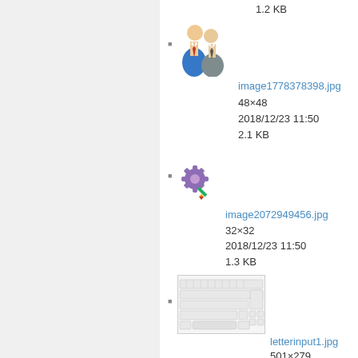1.2 KB
[Figure (illustration): Two people icon (users icon) - men in suits]
image1778378398.jpg
48×48
2018/12/23 11:50
2.1 KB
[Figure (illustration): Gear/settings icon with a pencil overlay]
image2072949456.jpg
32×32
2018/12/23 11:50
1.3 KB
[Figure (screenshot): Thumbnail of a keyboard layout image (letterinput1.jpg)]
letterinput1.jpg
501×279
2018/12/23 11:50
22.3 KB
[Figure (screenshot): Partial thumbnail of a document with red header area]